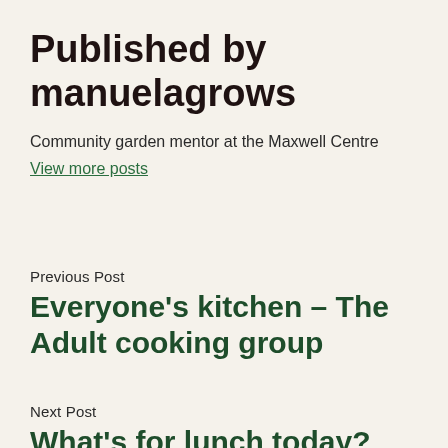Published by manuelagrows
Community garden mentor at the Maxwell Centre
View more posts
Previous Post
Everyone's kitchen – The Adult cooking group
Next Post
What's for lunch today? Everyone's